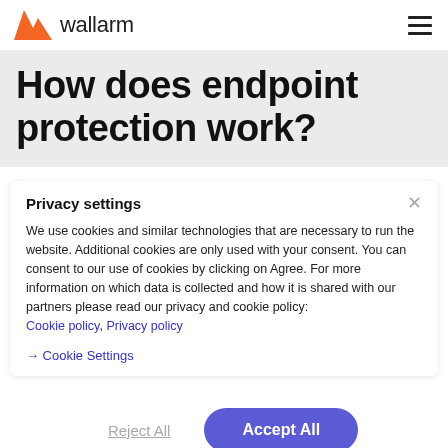wallarm
How does endpoint protection work?
Privacy settings
We use cookies and similar technologies that are necessary to run the website. Additional cookies are only used with your consent. You can consent to our use of cookies by clicking on Agree. For more information on which data is collected and how it is shared with our partners please read our privacy and cookie policy: Cookie policy, Privacy policy
→ Cookie Settings